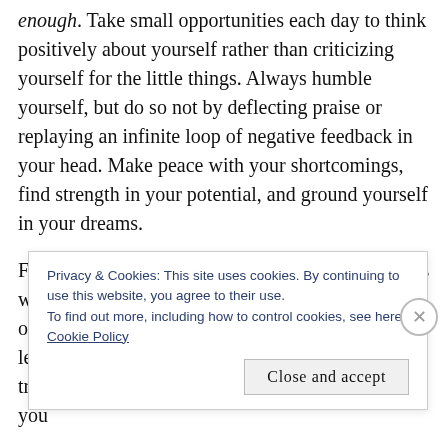enough. Take small opportunities each day to think positively about yourself rather than criticizing yourself for the little things. Always humble yourself, but do so not by deflecting praise or replaying an infinite loop of negative feedback in your head. Make peace with your shortcomings, find strength in your potential, and ground yourself in your dreams.
Finally, I pray that you will never create limitations within yourself, for there are already many barriers out there in the world. You always choose the road less t[raveled by, one filled with more challenges, but you...]
Privacy & Cookies: This site uses cookies. By continuing to use this website, you agree to their use.
To find out more, including how to control cookies, see here:
Cookie Policy
Close and accept